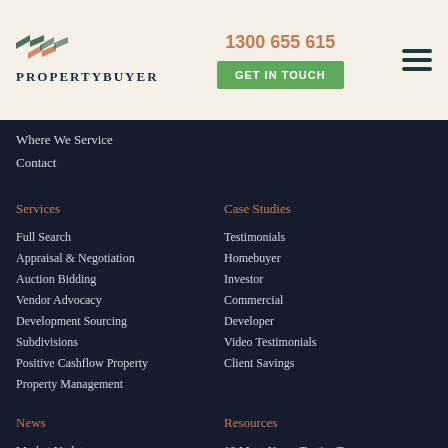[Figure (logo): PropertyBuyer logo with chevron icon and text PROPERTYBUYER]
1300 655 615
GET IN TOUCH
Where We Service
Contact
Services
Case Studies
Full Search
Testimonials
Appraisal & Negotiation
Homebuyer
Auction Bidding
Investor
Vendor Advocacy
Commercial
Development Sourcing
Developer
Subdivisions
Video Testimonials
Positive Cashflow Property
Client Savings
Property Management
News
Resources
Market Updates
10 Must-Know Tactics To